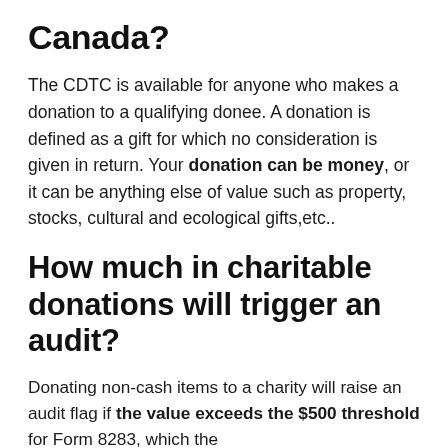Canada?
The CDTC is available for anyone who makes a donation to a qualifying donee. A donation is defined as a gift for which no consideration is given in return. Your donation can be money, or it can be anything else of value such as property, stocks, cultural and ecological gifts,etc..
How much in charitable donations will trigger an audit?
Donating non-cash items to a charity will raise an audit flag if the value exceeds the $500 threshold for Form 8283, which the